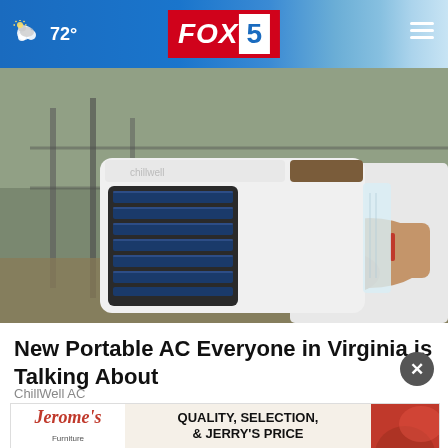FOX 5 | 72°
[Figure (photo): Person holding a small white portable air conditioner (ChillWell AC) with blue fan vents and a brown top panel, outdoors.]
New Portable AC Everyone in Virginia is Talking About
ChillWell AC
[Figure (photo): Jerome's Furniture advertisement banner: logo and text reading QUALITY, SELECTION, & JERRY'S PRICE with red accent imagery.]